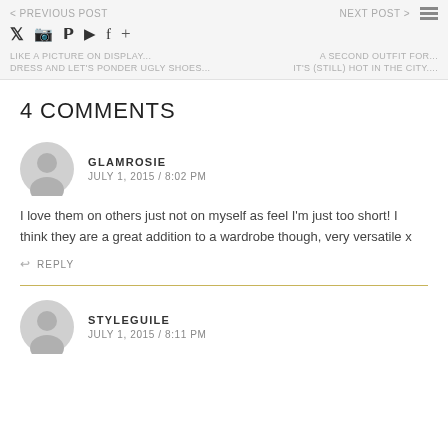< PREVIOUS POST ... NEXT POST > | Social icons | LIKE A PICTURE ON DISPLAY... DRESS AND LET'S PONDER UGLY SHOES... | A SECOND OUTFIT FOR... IT'S (STILL) HOT IN THE CITY....
4 COMMENTS
GLAMROSIE
JULY 1, 2015 / 8:02 PM
I love them on others just not on myself as feel I'm just too short! I think they are a great addition to a wardrobe though, very versatile x
↩ REPLY
STYLEGUILE
JULY 1, 2015 / 8:11 PM